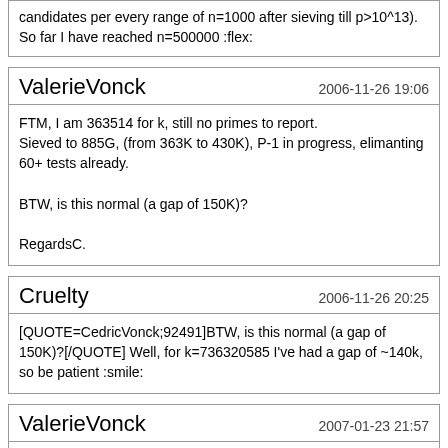candidates per every range of n=1000 after sieving till p>10^13). So far I have reached n=500000 :flex:
VallerieVonck
2006-11-26 19:06
FTM, I am 363514 for k, still no primes to report.
Sieved to 885G, (from 363K to 430K), P-1 in progress, elimanting 60+ tests already.

BTW, is this normal (a gap of 150K)?

RegardsC.
Cruelty
2006-11-26 20:25
[QUOTE=CedricVonck;92491]BTW, is this normal (a gap of 150K)?[/QUOTE] Well, for k=736320585 I've had a gap of ~140k, so be patient :smile:
ValerieVonck
2007-01-23 21:57
Still holding strong @ 371496, P-1 continues, sieved to 930G,
I am getting speeds of [b]1430+ kp/sec[/b] with sr2sieve instead of 430 kp/sec with prothsieve sse2.